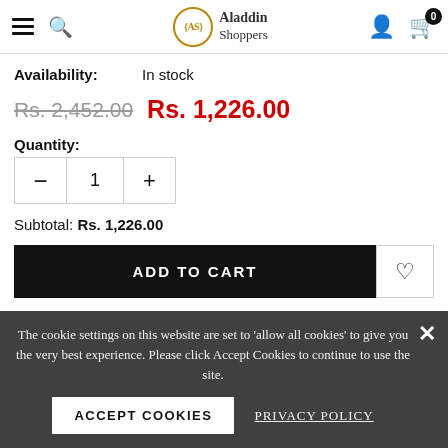[Figure (screenshot): Aladdin Shoppers website header with hamburger menu, search icon, logo, user icon, and cart icon with badge showing 0]
Availability: In stock
Rs. 2,452.00 Rs. 1,226.00
Quantity:
1
Subtotal: Rs. 1,226.00
ADD TO CART
The cookie settings on this website are set to 'allow all cookies' to give you the very best experience. Please click Accept Cookies to continue to use the site.
ACCEPT COOKIES
PRIVACY POLICY